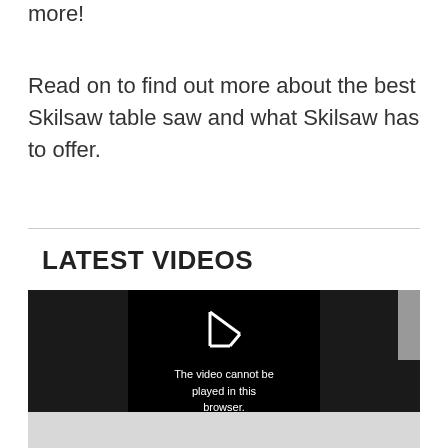more!
Read on to find out more about the best Skilsaw table saw and what Skilsaw has to offer.
LATEST VIDEOS
[Figure (screenshot): Video player showing error message: 'The video cannot be played in this browser. (Error Code: 242632)' with a play button icon on a black background.]